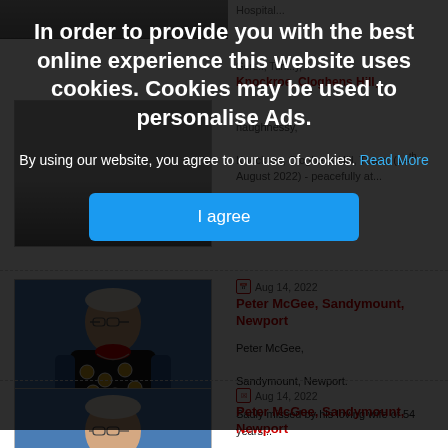[Figure (screenshot): Cookie consent overlay on a newspaper obituaries website. Dark semi-transparent background covers most of the page. Bold white text reads 'In order to provide you with the best online experience this website uses cookies. Cookies may be used to personalise Ads.' Below, white text reads 'By using our website, you agree to our use of cookies.' followed by a blue 'Read More' link. A blue 'I agree' button is centered below.]
In order to provide you with the best online experience this website uses cookies. Cookies may be used to personalise Ads.
By using our website, you agree to our use of cookies. Read More
I agree
Aug 14, 2022
Peter McGee, Sandymount, Newport
Peter McGee,

Sandymount, Newport.

Sadly missed by his loving wife of 54 years...
Aug 14, 2022
Sean Liddy, Oxfield Road,